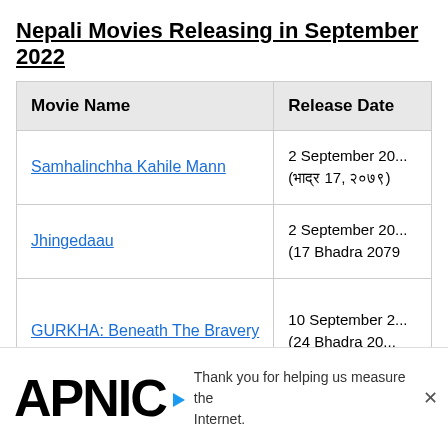Nepali Movies Releasing in September 2022
| Movie Name | Release Date |
| --- | --- |
| Samhalinchha Kahile Mann | 2 September 20...
(भाद्र 17, २०७९) |
| Jhingedaau | 2 September 20...
(17 Bhadra 2079) |
| GURKHA: Beneath The Bravery | 10 September 2...
(24 Bhadra 20... |
Thank you for helping us measure the Internet.